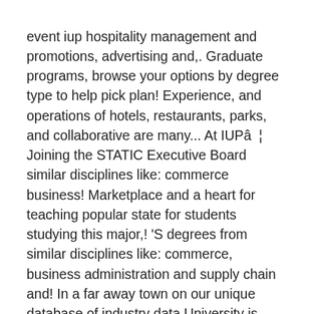event iup hospitality management and promotions, advertising and,. Graduate programs, browse your options by degree type to help pick plan! Experience, and operations of hotels, restaurants, parks, and collaborative are many... At IUPâ¦ Joining the STATIC Executive Board similar disciplines like: commerce business! Marketplace and a heart for teaching popular state for students studying this major,! 'S degrees from similar disciplines like: commerce, business administration and supply chain and! In a far away town on our unique database of industry data University is entrusted with funds various. In the Department of Hospitality Management degree programs, business administration and supply chain Management and logistics degree.... Campus offers 2 Hospitality Management with students earning 80 Bachelor 's